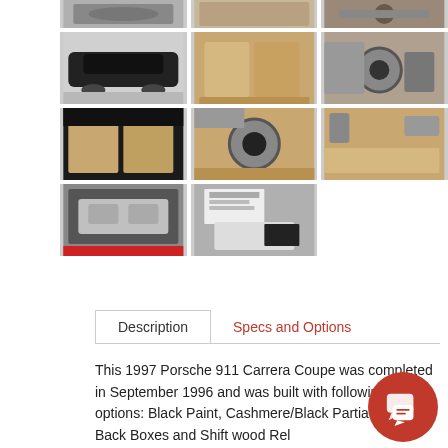[Figure (photo): Gallery of 8 thumbnail photos of a 1997 Porsche 911 Carrera Coupe: exterior, interior seats, dashboard/steering wheel, interior from rear, steering wheel close-up, door panel, engine bay, documents/paperwork]
Description | Specs and Options
This 1997 Porsche 911 Carrera Coupe was completed in September 1996 and was built with following options: Black Paint, Cashmere/Black Partial leather, Back Boxes and Shift wood Rel...